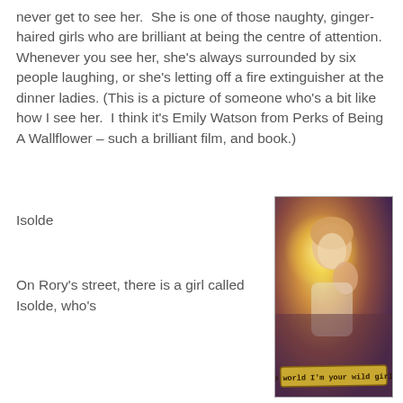never get to see her.  She is one of those naughty, ginger-haired girls who are brilliant at being the centre of attention.  Whenever you see her, she's always surrounded by six people laughing, or she's letting off a fire extinguisher at the dinner ladies. (This is a picture of someone who's a bit like how I see her.  I think it's Emily Watson from Perks of Being A Wallflower – such a brilliant film, and book.)
Isolde
[Figure (photo): A photo of a young woman with blonde hair, mouth open in an excited expression, hand near her face. Warm orange/yellow tones with a glowing yellow light behind her. Text overlay at the bottom reads: Hello world I'm your wild girl...]
On Rory's street, there is a girl called Isolde, who's